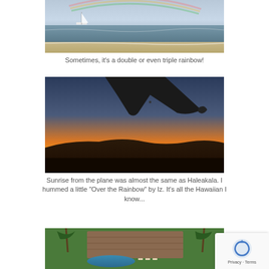[Figure (photo): Cropped beach scene with ocean, sailboat, and faint rainbow arc above the water, sandy shore in foreground]
Sometimes, it's a double or even triple rainbow!
[Figure (photo): Airplane wing silhouette against a vivid orange and deep blue sunset sky, mountains visible on the horizon below]
Sunrise from the plane was almost the same as Haleakala. I hummed a little "Over the Rainbow" by Iz. It's all the Hawaiian I know...
[Figure (photo): Aerial view of a tropical resort with a pool, thatched-roof buildings, and palm trees]
[Figure (other): Google reCAPTCHA badge with Privacy and Terms labels]